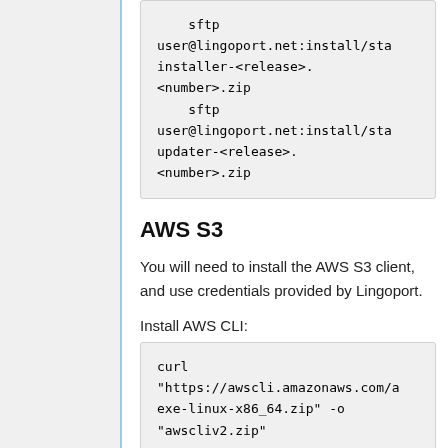sftp user@lingoport.net:install/sta installer-<release>.<number>.zip     sftp user@lingoport.net:install/sta updater-<release>.<number>.zip
AWS S3
You will need to install the AWS S3 client, and use credentials provided by Lingoport.
Install AWS CLI:
curl "https://awscli.amazonaws.com/a exe-linux-x86_64.zip" -o "awscliv2.zip"